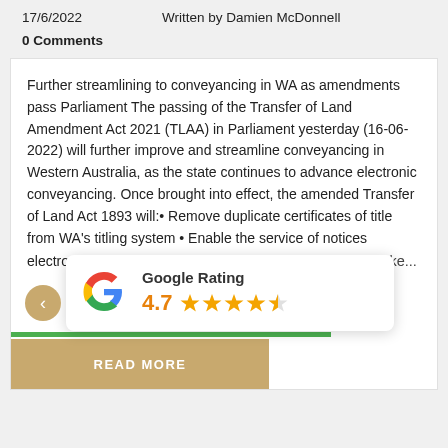17/6/2022    Written by Damien McDonnell
0 Comments
Further streamlining to conveyancing in WA as amendments pass Parliament The passing of the Transfer of Land Amendment Act 2021 (TLAA) in Parliament yesterday (16-06-2022) will further improve and streamline conveyancing in Western Australia, as the state continues to advance electronic conveyancing. Once brought into effect, the amended Transfer of Land Act 1893 will:• Remove duplicate certificates of title from WA's titling system • Enable the service of notices electronically• Clarify the definition of counterpart ns will take...
[Figure (logo): Google Rating widget showing 4.7 stars with Google G logo]
READ MORE